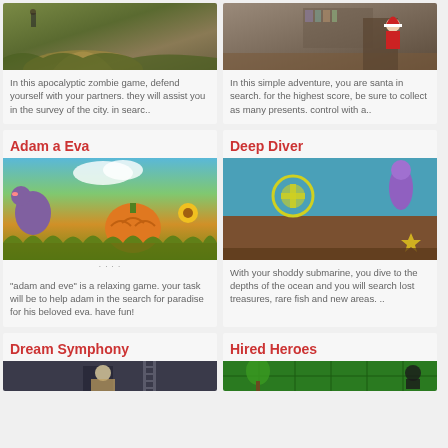[Figure (screenshot): Apocalyptic zombie game screenshot - outdoor scene with dirt path]
In this apocalyptic zombie game, defend yourself with your partners. they will assist you in the survey of the city. in searc..
[Figure (screenshot): Santa adventure game screenshot - indoor scene with red character]
In this simple adventure, you are santa in search. for the highest score, be sure to collect as many presents. control with a..
Adam a Eva
[Figure (screenshot): Adam and Eve game screenshot - colorful scene with dinosaur, pumpkin, sunflowers]
"adam and eve" is a relaxing game. your task will be to help adam in the search for paradise for his beloved eva. have fun!
Deep Diver
[Figure (screenshot): Deep Diver game screenshot - underwater scene with teal background, brown platform, yellow star, purple character]
With your shoddy submarine, you dive to the depths of the ocean and you will search lost treasures, rare fish and new areas. ..
Dream Symphony
[Figure (screenshot): Dream Symphony game screenshot - dark scene with character]
Hired Heroes
[Figure (screenshot): Hired Heroes game screenshot - top-down green grid map with character]